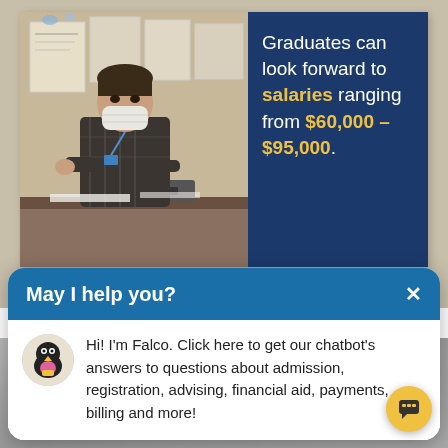[Figure (photo): Student wearing a face mask working at a desk in a classroom with project posters on the wall behind]
Graduates can look forward to salaries ranging from $60,000 – $95,000.
LEA
MORE NEWS »
May I help you?
[Figure (illustration): Falco chatbot avatar icon with yellow beak]
Hi! I'm Falco. Click here to get our chatbot's answers to questions about admission, registration, advising, financial aid, payments, billing and more!